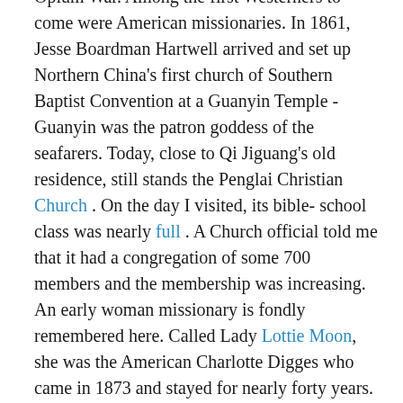Opium War. Among the first Westerners to come were American missionaries. In 1861, Jesse Boardman Hartwell arrived and set up Northern China's first church of Southern Baptist Convention at a Guanyin Temple - Guanyin was the patron goddess of the seafarers. Today, close to Qi Jiguang's old residence, still stands the Penglai Christian Church . On the day I visited, its bible- school class was nearly full . A Church official told me that it had a congregation of some 700 members and the membership was increasing. An early woman missionary is fondly remembered here. Called Lady Lottie Moon, she was the American Charlotte Digges who came in 1873 and stayed for nearly forty years. She followed local customs, saying that "she would be like the Chinese and wanted to die here." A stone monument to her is erected next to the church.